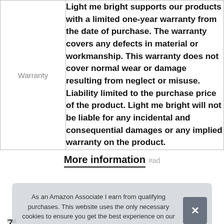|  |  |
| --- | --- |
| Warranty | Light me bright supports our products with a limited one-year warranty from the date of purchase. The warranty covers any defects in material or workmanship. This warranty does not cover normal wear or damage resulting from neglect or misuse. Liability limited to the purchase price of the product. Light me bright will not be liable for any incidental and consequential damages or any implied warranty on the product. |
More information #ad
As an Amazon Associate I earn from qualifying purchases. This website uses the only necessary cookies to ensure you get the best experience on our website. More information
7.
#ad